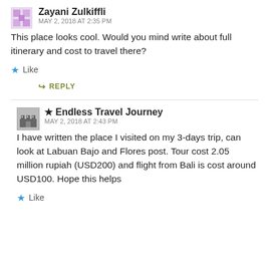Zayani Zulkiffli
MAY 2, 2018 AT 2:35 PM
This place looks cool. Would you mind write about full itinerary and cost to travel there?
Like
REPLY
★ Endless Travel Journey
MAY 2, 2018 AT 2:43 PM
I have written the place I visited on my 3-days trip, can look at Labuan Bajo and Flores post. Tour cost 2.05 million rupiah (USD200) and flight from Bali is cost around USD100. Hope this helps
Like